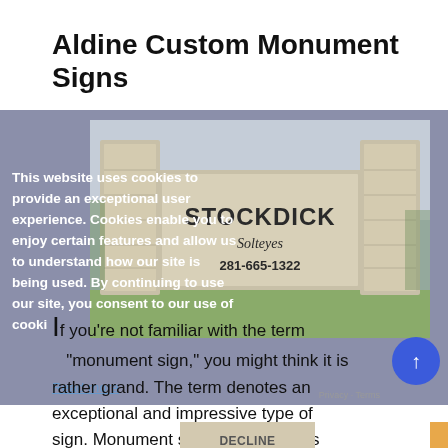Aldine Custom Monument Signs
[Figure (photo): Photograph of a large stone monument sign reading 'STOCKDICK' with script text and phone number 281-665-1322, flanked by stone pillars, outdoor setting with trees and cloudy sky.]
This website uses cookies to provide an exceptional user experience. Cookies enable you to enjoy certain features and allow us to understand how our site is being used. By continuing to use our site, you consent to our use of cookies.
Read more
If you're not familiar with the term "monument sign," you might think it is rather grand. The term denotes an exceptional and impressive type of sign. Monument signs are not signs made for monuments, and it's not a
DECLINE
ACCEPT COOKIES